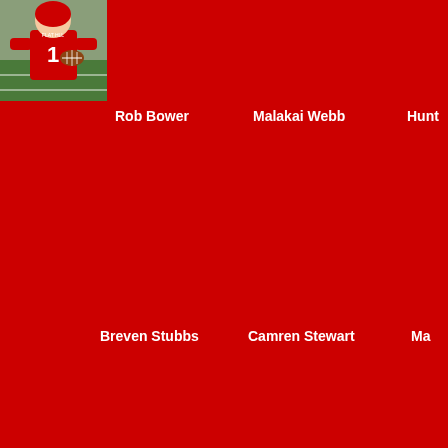[Figure (photo): Football player in red jersey number 1, holding a football, red background]
Rob Bower
Malakai Webb
Hunt
Breven Stubbs
Camren Stewart
Ma